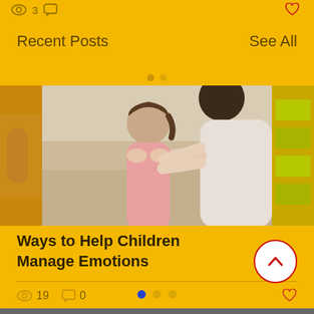3  [chat icon]  [heart icon]
Recent Posts
See All
[Figure (photo): A woman holding a young girl's face gently in her hands, looking at her affectionately. Indoor setting with soft light.]
Ways to Help Children Manage Emotions
19  0